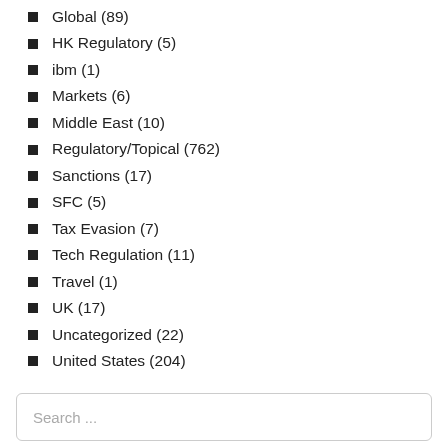Global (89)
HK Regulatory (5)
ibm (1)
Markets (6)
Middle East (10)
Regulatory/Topical (762)
Sanctions (17)
SFC (5)
Tax Evasion (7)
Tech Regulation (11)
Travel (1)
UK (17)
Uncategorized (22)
United States (204)
Search ...